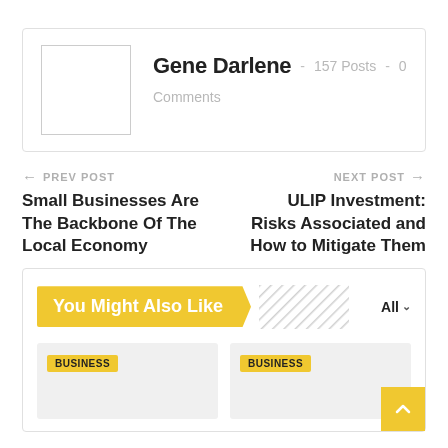Gene Darlene - 157 Posts - 0 Comments
← PREV POST
Small Businesses Are The Backbone Of The Local Economy
NEXT POST →
ULIP Investment: Risks Associated and How to Mitigate Them
You Might Also Like
BUSINESS
BUSINESS